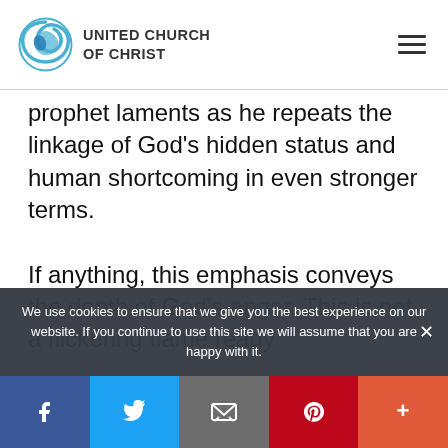UNITED CHURCH OF CHRIST
prophet laments as he repeats the linkage of God's hidden status and human shortcoming in even stronger terms.
If anything, this emphasis conveys the depth of God's anger. This is not a flickering flame ready
We use cookies to ensure that we give you the best experience on our website. If you continue to use this site we will assume that you are happy with it.